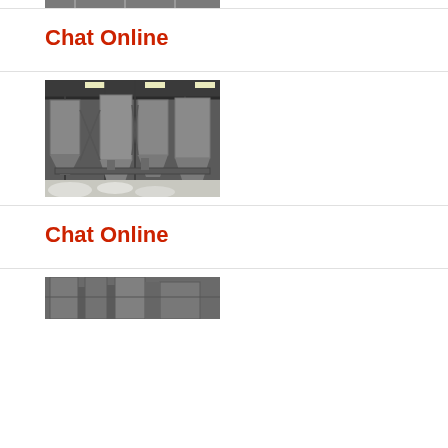[Figure (photo): Industrial facility with silos and equipment, partially visible at top]
Chat Online
[Figure (photo): Industrial facility interior with large dust collector silos, steel structure framing, and white powder/material on ground floor]
Chat Online
[Figure (photo): Industrial equipment with silos and metal structure, partially visible at bottom]